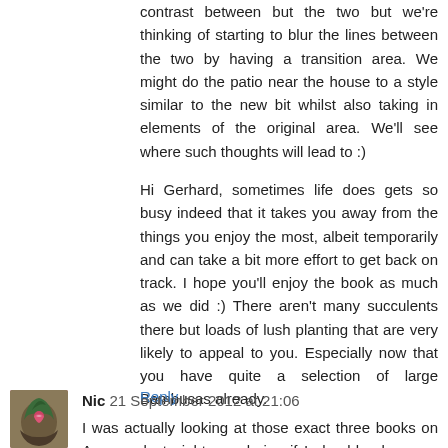contrast between but the two but we're thinking of starting to blur the lines between the two by having a transition area. We might do the patio near the house to a style similar to the new bit whilst also taking in elements of the original area. We'll see where such thoughts will lead to :)
Hi Gerhard, sometimes life does gets so busy indeed that it takes you away from the things you enjoy the most, albeit temporarily and can take a bit more effort to get back on track. I hope you'll enjoy the book as much as we did :) There aren't many succulents there but loads of lush planting that are very likely to appeal to you. Especially now that you have quite a selection of large Bambusas already.
Reply
Nic 21 September 2012 at 21:06
I was actually looking at those exact three books on Amazon last night, pondering if I should splurge on one of them. I had flipped through "Tropical Gardens of the Philippines" once this summer when I was in Malaysia. Not